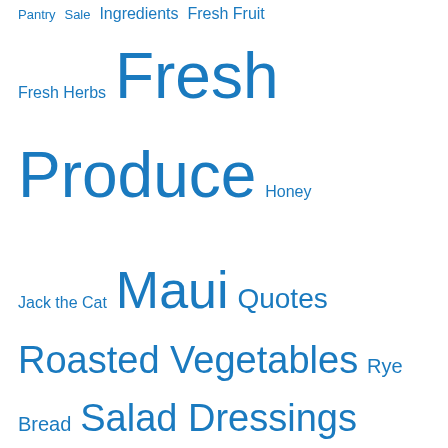Pantry Sale Ingredients Fresh Fruit Fresh Herbs Fresh Produce Honey Jack the Cat Maui Quotes Roasted Vegetables Rye Bread Salad Dressings Salads Sandwiches Snacks Soups Uncategorized Upcountry Maui Vegetables What's for Breakfast? What's in the refrigerator? Whole Grain Bread Whole Wheat Bread Yogurt
Archives
August 2017